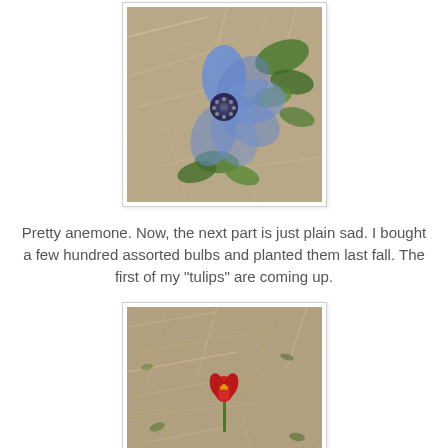[Figure (photo): Photo of a blue anemone flower with dark center surrounded by green feathery leaves, set against a background of dried brown mulch/straw.]
Pretty anemone. Now, the next part is just plain sad. I bought a few hundred assorted bulbs and planted them last fall. The first of my "tulips" are coming up.
[Figure (photo): Photo of a single small red tulip flower with yellow center growing sparsely in dry brown mulch/straw ground with sparse green weeds.]